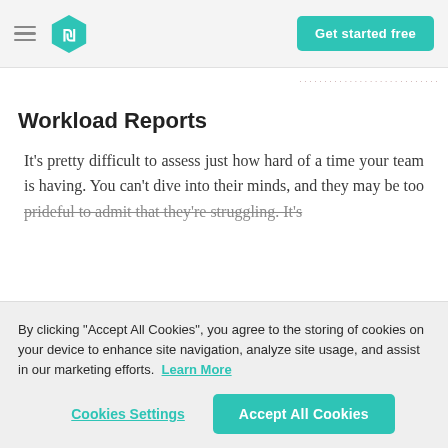Get started free
Workload Reports
It's pretty difficult to assess just how hard of a time your team is having. You can't dive into their minds, and they may be too prideful to admit that they're struggling. It's
By clicking "Accept All Cookies", you agree to the storing of cookies on your device to enhance site navigation, analyze site usage, and assist in our marketing efforts. Learn More
Cookies Settings | Accept All Cookies